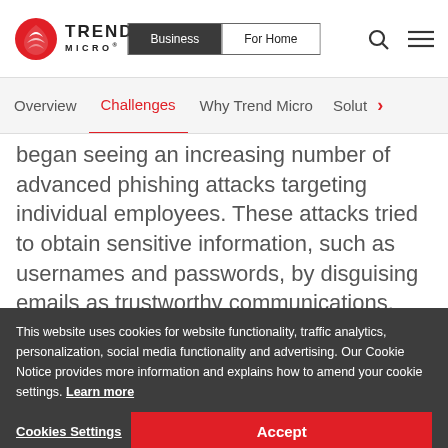Trend Micro | Business | For Home
Overview | Challenges | Why Trend Micro | Solut >
began seeing an increasing number of advanced phishing attacks targeting individual employees. These attacks tried to obtain sensitive information, such as usernames and passwords, by disguising emails as trustworthy communications.
We easily determined the ... your employees ... to steal information through phishing attacks, said Challen. To determine the organization's risk level and each ... bility ... phishing attacks AGA began looking for a phishing...
This website uses cookies for website functionality, traffic analytics, personalization, social media functionality and advertising. Our Cookie Notice provides more information and explains how to amend your cookie settings. Learn more
Cookies Settings | Accept